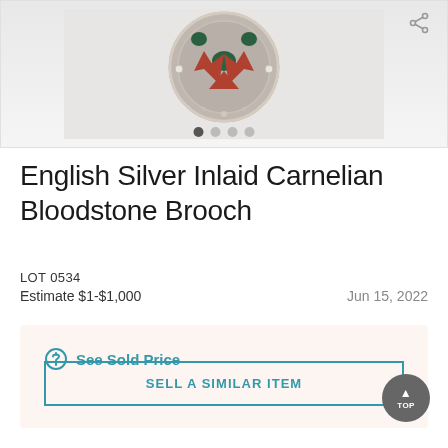[Figure (photo): Photograph of an English Silver Inlaid Carnelian Bloodstone Brooch — a circular silver brooch with red carnelian and dark green bloodstone inlays, with ornate silver filigree work. Image carousel with 4 dots (first active) and a share icon.]
English Silver Inlaid Carnelian Bloodstone Brooch
LOT 0534
Estimate $1-$1,000    Jun 15, 2022
See Sold Price
SELL A SIMILAR ITEM